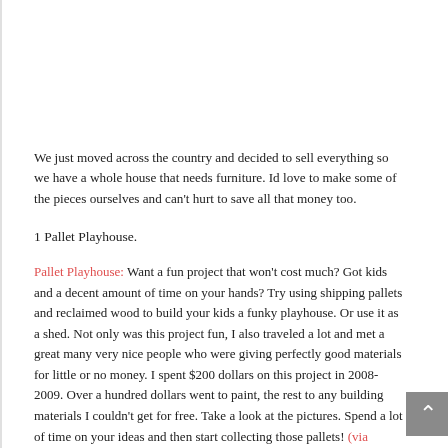We just moved across the country and decided to sell everything so we have a whole house that needs furniture. Id love to make some of the pieces ourselves and can't hurt to save all that money too.
1 Pallet Playhouse.
Pallet Playhouse: Want a fun project that won't cost much? Got kids and a decent amount of time on your hands? Try using shipping pallets and reclaimed wood to build your kids a funky playhouse. Or use it as a shed. Not only was this project fun, I also traveled a lot and met a great many very nice people who were giving perfectly good materials for little or no money. I spent $200 dollars on this project in 2008-2009. Over a hundred dollars went to paint, the rest to any building materials I couldn't get for free. Take a look at the pictures. Spend a lot of time on your ideas and then start collecting those pallets! (via